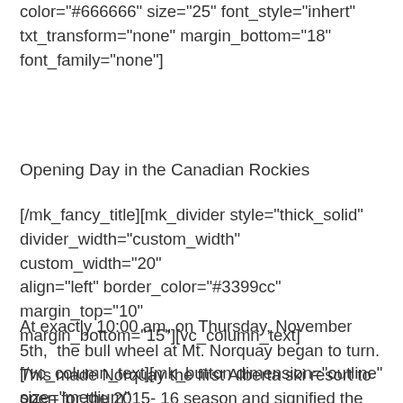color="#666666" size="25" font_style="inhert" txt_transform="none" margin_bottom="18" font_family="none"]
Opening Day in the Canadian Rockies
[/mk_fancy_title][mk_divider style="thick_solid" divider_width="custom_width" custom_width="20" align="left" border_color="#3399cc" margin_top="10" margin_bottom="15"][vc_column_text]
At exactly 10:00 am, on Thursday, November 5th,  the bull wheel at Mt. Norquay began to turn. This made Norquay the first Alberta ski resort to open for the 2015-16 season and signified the start of its 90th season in operation.
[/vc_column_text][mk_button dimension="outline" size="medium" url="https://www.skibig3.com/blog/mt-